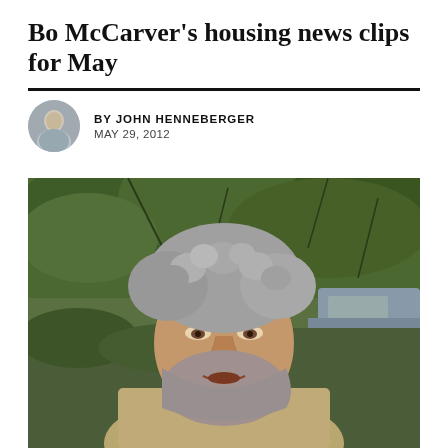Bo McCarver's housing news clips for May
BY JOHN HENNEBERGER
MAY 29, 2012
[Figure (photo): Close-up photograph of an older man with grey curly hair and a beard, outdoors with trees and a vehicle in the background.]